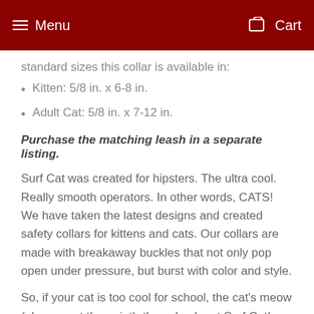Menu  Cart
standard sizes this collar is available in:
Kitten: 5/8 in. x 6-8 in.
Adult Cat: 5/8 in. x 7-12 in.
Purchase the matching leash in a separate listing.
Surf Cat was created for hipsters. The ultra cool. Really smooth operators. In other words, CATS! We have taken the latest designs and created safety collars for kittens and cats. Our collars are made with breakaway buckles that not only pop open under pressure, but burst with color and style.
So, if your cat is too cool for school, the cat's meow (ok, you get the point), then check out Surf Cat!
Surf Cat is division of Diva Dog, a Southern California